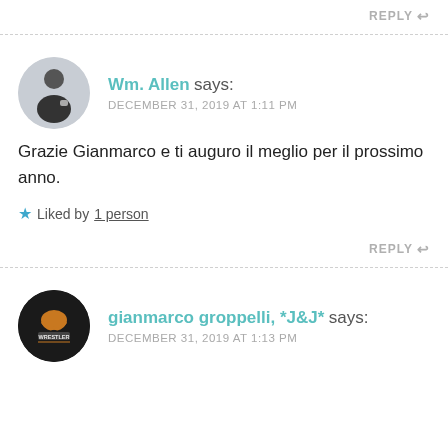REPLY
Wm. Allen says: DECEMBER 31, 2019 AT 1:11 PM
Grazie Gianmarco e ti auguro il meglio per il prossimo anno.
Liked by 1 person
REPLY
gianmarco groppelli, *J&J* says: DECEMBER 31, 2019 AT 1:13 PM